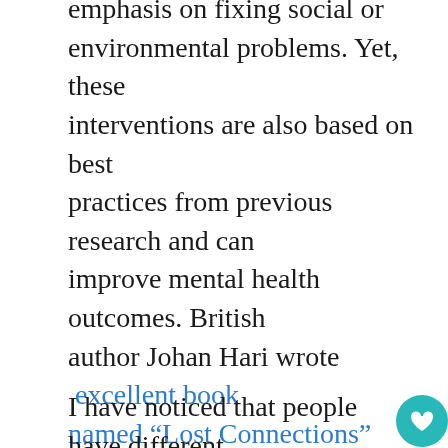emphasis on fixing social or environmental problems. Yet, these interventions are also based on best practices from previous research and can improve mental health outcomes. British author Johan Hari wrote  excellent book named “Lost Connections” which gives several examples of what these interventions look like and how they can improve symptoms that were originally presented in a more clinical setting.
I have noticed that people have different reactions to mental health diagnoses than they do to medical ones. For example, when I was diagnosed with Panic Disorder